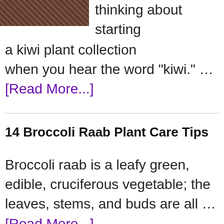[Figure (photo): Partial photo of a kiwi plant or fruit, dark brown textured surface]
thinking about starting a kiwi plant collection when you hear the word "kiwi." … [Read More...]
14 Broccoli Raab Plant Care Tips
Broccoli raab is a leafy green, edible, cruciferous vegetable; the leaves, stems, and buds are all … [Read More...]